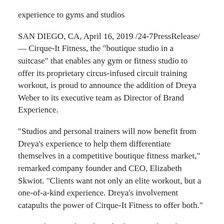experience to gyms and studios
SAN DIEGO, CA, April 16, 2019 /24-7PressRelease/ — Cirque-It Fitness, the "boutique studio in a suitcase" that enables any gym or fitness studio to offer its proprietary circus-infused circuit training workout, is proud to announce the addition of Dreya Weber to its executive team as Director of Brand Experience.
"Studios and personal trainers will now benefit from Dreya's experience to help them differentiate themselves in a competitive boutique fitness market," remarked company founder and CEO, Elizabeth Skwiot. "Clients want not only an elite workout, but a one-of-a-kind experience. Dreya's involvement catapults the power of Cirque-It Fitness to offer both."
Ms. Weber's credentials in the fitness and acrobatic world are extensive and include choreographing countless aerial acts for celebrities–including pop star Pink's iconic Grammy performance–and serving as video talent and fitness model for Beachbody's wildly